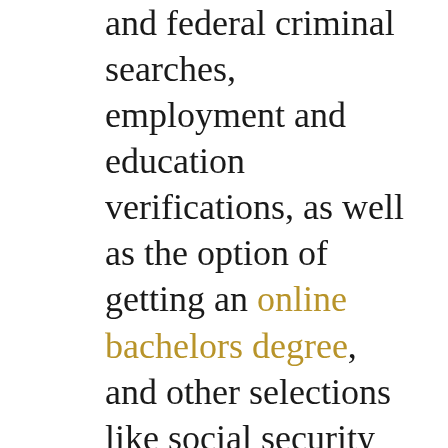and federal criminal searches, employment and education verifications, as well as the option of getting an online bachelors degree, and other selections like social security reports and motor vehicle report to name a few. Screenings can offer further insight into a candidate's performance, qualifications, and character. You can also visit our website to easily change your PIN details if you have them…